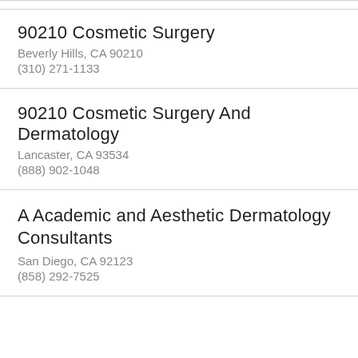90210 Cosmetic Surgery
Beverly Hills, CA 90210
(310) 271-1133
90210 Cosmetic Surgery And Dermatology
Lancaster, CA 93534
(888) 902-1048
A Academic and Aesthetic Dermatology Consultants
San Diego, CA 92123
(858) 292-7525